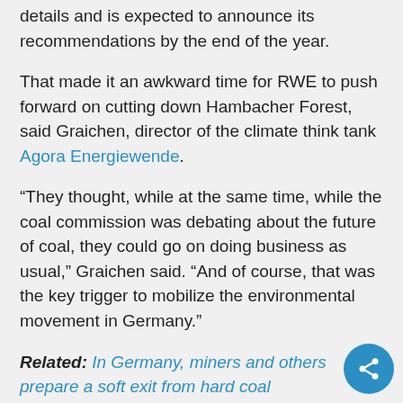details and is expected to announce its recommendations by the end of the year.
That made it an awkward time for RWE to push forward on cutting down Hambacher Forest, said Graichen, director of the climate think tank Agora Energiewende.
“They thought, while at the same time, while the coal commission was debating about the future of coal, they could go on doing business as usual,” Graichen said. “And of course, that was the key trigger to mobilize the environmental movement in Germany.”
Related: In Germany, miners and others prepare a soft exit from hard coal